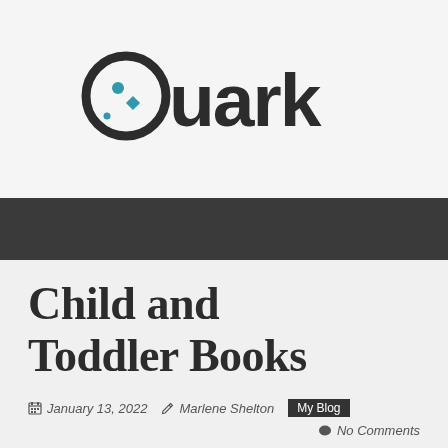[Figure (logo): Quark logo — circular Q with teal dot and diamond, bold sans-serif text 'Quark']
Child and Toddler Books
January 13, 2022   Marlene Shelton   My Blog   No Comments